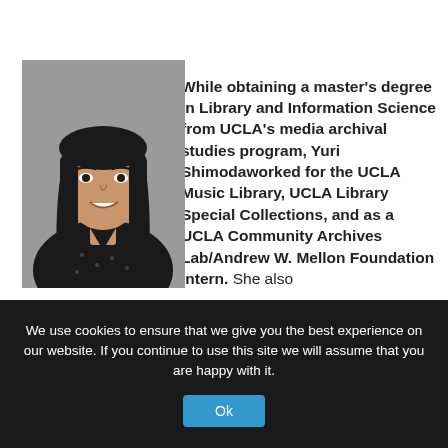[Figure (photo): Portrait photo of Yuri Shimoda, a woman with long dark hair and bangs, wearing a dark top with small pattern, smiling, against a gray background.]
While obtaining a master's degree in Library and Information Science from UCLA's media archival studies program, Yuri Shimoda worked for the UCLA Music Library, UCLA Library Special Collections, and as a UCLA Community Archives Lab/Andrew W. Mellon Foundation intern. She also
We use cookies to ensure that we give you the best experience on our website. If you continue to use this site we will assume that you are happy with it.